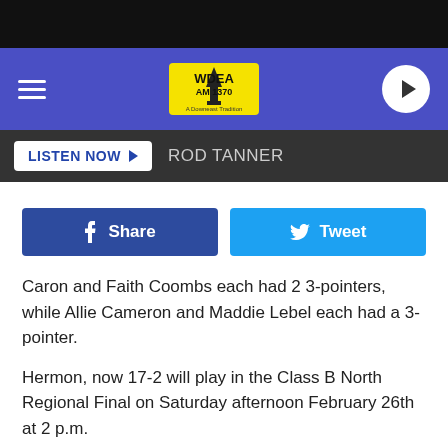[Figure (screenshot): Black top bar of mobile app]
WDEA AM 1370 A Downeast Tradition — navigation bar with hamburger menu and play button
LISTEN NOW ► ROD TANNER
[Figure (infographic): Facebook Share button and Twitter Tweet button]
Caron and Faith Coombs each had 2 3-pointers, while Allie Cameron and Maddie Lebel each had a 3-pointer.
Hermon, now 17-2 will play in the Class B North Regional Final on Saturday afternoon February 26th at 2 p.m.
MDI's season comes to a close with a record of 15-5
Line Score
|  | 1 | 2 | 3 | 4 | T |
| --- | --- | --- | --- | --- | --- |